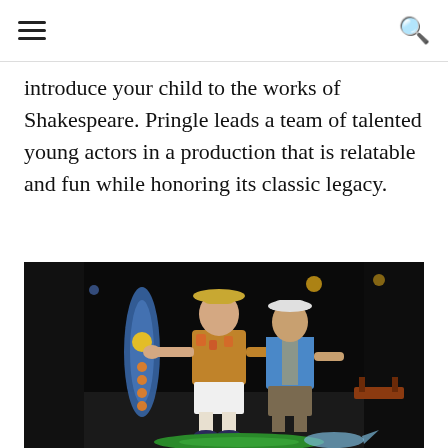[hamburger menu] [search icon]
introduce your child to the works of Shakespeare. Pringle leads a team of talented young actors in a production that is relatable and fun while honoring its classic legacy.
[Figure (photo): Two young male actors on a dark theatrical stage, one wearing a straw hat and Hawaiian shirt standing on a green surfboard, the other in a blue vest and plaid shirt behind him, with surf-themed stage decorations in the background.]